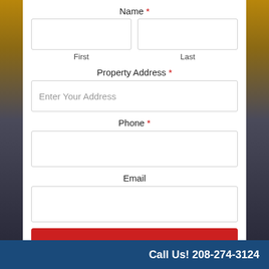Name *
First
Last
Property Address *
Enter Your Address
Phone *
Email
Get My Fair Cash Offer ››
Call Us! 208-274-3124